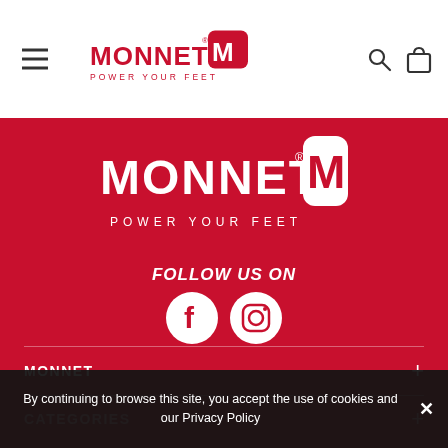[Figure (logo): Monnet Power Your Feet logo in header with hamburger menu and search/bag icons]
[Figure (logo): Monnet Power Your Feet white logo centered on red background]
FOLLOW US ON
[Figure (infographic): Facebook and Instagram social media icons (white circles on red background)]
MONNET
CATEGORIES
By continuing to browse this site, you accept the use of cookies and our Privacy Policy